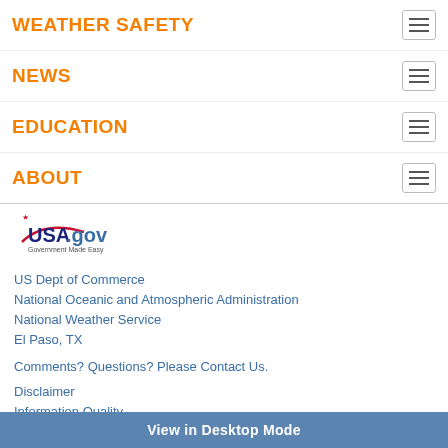WEATHER SAFETY
NEWS
EDUCATION
ABOUT
[Figure (logo): USA.gov - Government Made Easy logo]
US Dept of Commerce
National Oceanic and Atmospheric Administration
National Weather Service
El Paso, TX
Comments? Questions? Please Contact Us.
Disclaimer
Information Quality
Help
Glossary
Privacy Policy
Freedom of Information Act (FOIA)
About Us
Career Opportunities
View in Desktop Mode